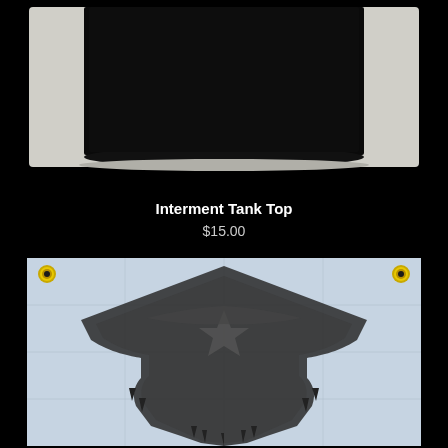[Figure (photo): A black tank top / shirt laid flat against a white/gray background, showing the bottom hem and body of the garment, photographed from above on a black background.]
Interment Tank Top
$15.00
[Figure (photo): A light blue/white fabric flag featuring a dark gray ornate death metal band logo (intricate gothic lettering with dripping elements), mounted with two gold grommets in the upper corners. The flag has visible fold lines from storage.]